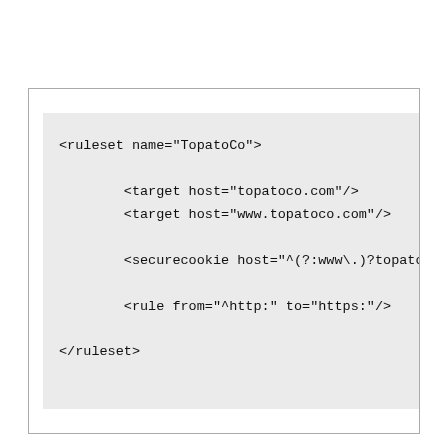[Figure (screenshot): A code block showing XML ruleset configuration for TopatoCo with target hosts, securecookie, and rule elements.]